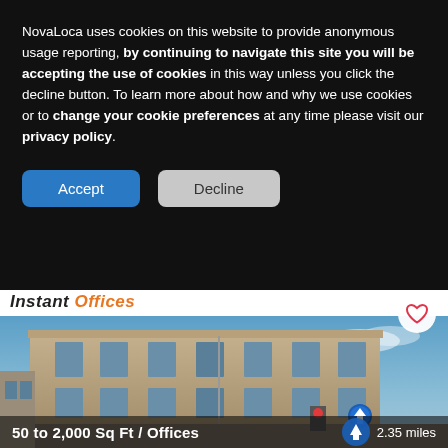NovaLoca uses cookies on this website to provide anonymous usage reporting, by continuing to navigate this site you will be accepting the use of cookies in this way unless you click the decline button. To learn more about how and why we use cookies or to change your cookie preferences at any time please visit our privacy policy.
[Figure (screenshot): Cookie consent overlay on NovaLoca website with Accept and Decline buttons, above a property listing showing a Victorian stone building with text '50 to 2,000 Sq Ft / Offices' and '2.35 miles']